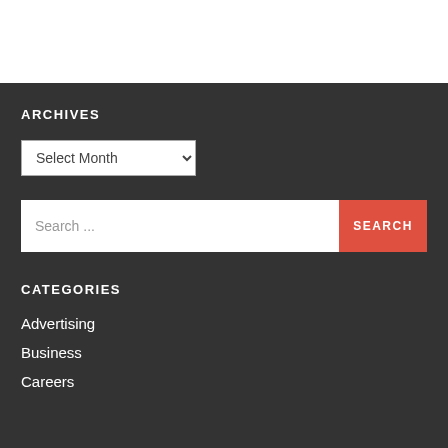ARCHIVES
Select Month
Search ...
CATEGORIES
Advertising
Business
Careers